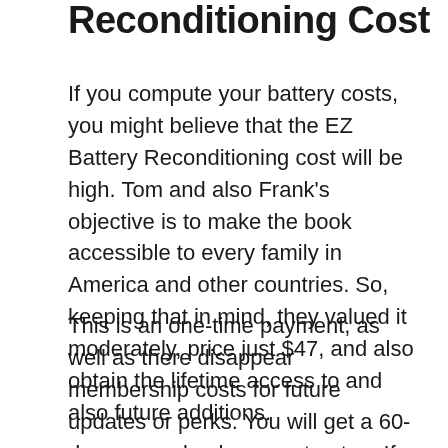Reconditioning Cost
If you compute your battery costs, you might believe that the EZ Battery Reconditioning cost will be high. Tom and also Frank's objective is to make the book accessible to every family in America and other countries. So, keeping that in mind, they valued it moderately, price just $47, and also obtain the lifetime access to and also future additions.
This is an one-time payment, as well as there disappear membership costs for future updates or perks. You will get a 60-day money-back guarantee too. If you don't like the publication, you can get a complete